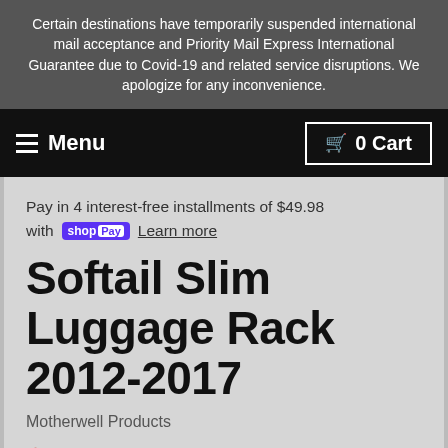Certain destinations have temporarily suspended international mail acceptance and Priority Mail Express International Guarantee due to Covid-19 and related service disruptions. We apologize for any inconvenience.
Menu  0 Cart
Pay in 4 interest-free installments of $49.98 with shopPay Learn more
Softail Slim Luggage Rack 2012-2017
Motherwell Products
$199.95
Shipping calculated at checkout.